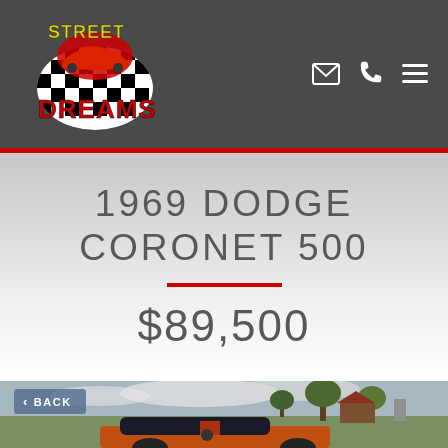[Figure (logo): Street Dreams logo with checkered flag and red classic car]
1969 DODGE CORONET 500
$89,500
[Figure (photo): 1969 Dodge Coronet 500 orange muscle car parked on a rural property with trees, barn, and farm equipment in background. A back button overlay is visible in the top left of the photo.]